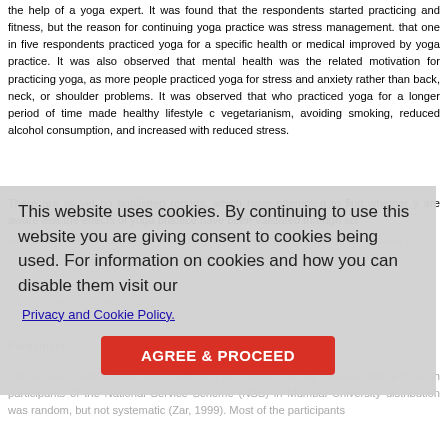the help of a yoga expert. It was found that the respondents started practicing and fitness, but the reason for continuing yoga practice was stress management. that one in five respondents practiced yoga for a specific health or medical improved by yoga practice. It was also observed that mental health was the related motivation for practicing yoga, as more people practiced yoga for stress and anxiety rather than back, neck, or shoulder problems. It was observed that who practiced yoga for a longer period of time made healthy lifestyle changes: vegetarianism, avoiding smoking, reduced alcohol consumption, and increased with reduced stress.
There are as yet no published reports, which have attempted to find whether yoga practitioners are aware that the effects of yoga practice have been validated through scientific studies. Hence, the present survey aimed at determining how many yoga followers were aware of...
Materials and Methods
Participants
The survey questionnaire was distributed to a section of the general population through participants of the National Service Scheme (NSS) in Mumbai University distribution was random, but not systematic (Zar, 1999). Most of the participants
[Figure (other): Cookie consent overlay dialog with text 'This website uses cookies. By continuing to use this website you are giving consent to cookies being used. For information on cookies and how you can disable them visit our Privacy and Cookie Policy.' and an AGREE & PROCEED button.]